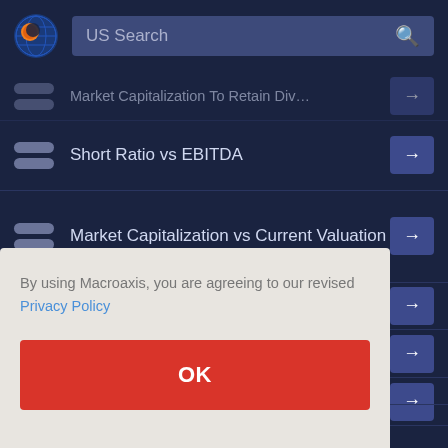[Figure (screenshot): Macroaxis website header with logo and US Search bar]
Market Capitalization To Retain Div (faded/truncated)
Short Ratio vs EBITDA
Market Capitalization vs Current Valuation
By using Macroaxis, you are agreeing to our revised Privacy Policy
OK
Earnings To Growth